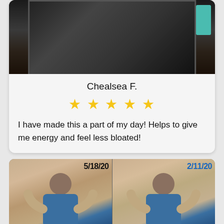[Figure (photo): Before photo showing person taking mirror selfie in dark room with teal furniture visible]
Chealsea F.
★★★★★ (5 stars)
I have made this a part of my day! Helps to give me energy and feel less bloated!
[Figure (photo): Two side-by-side progress photos dated 5/18/20 and 2/11/20, showing person in blue patterned sports bra taking mirror selfies from side angle]